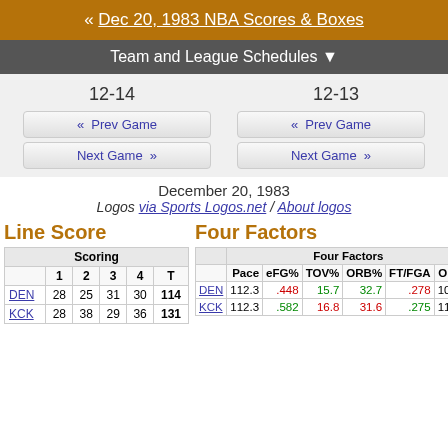« Dec 20, 1983 NBA Scores & Boxes
Team and League Schedules ▼
12-14
12-13
« Prev Game
« Prev Game
Next Game »
Next Game »
December 20, 1983
Logos via Sports Logos.net / About logos
Line Score
|  | 1 | 2 | 3 | 4 | T |
| --- | --- | --- | --- | --- | --- |
| DEN | 28 | 25 | 31 | 30 | 114 |
| KCK | 28 | 38 | 29 | 36 | 131 |
Four Factors
|  | Pace | eFG% | TOV% | ORB% | FT/FGA | ORtg |
| --- | --- | --- | --- | --- | --- | --- |
| DEN | 112.3 | .448 | 15.7 | 32.7 | .278 | 101.5 |
| KCK | 112.3 | .582 | 16.8 | 31.6 | .275 | 116.6 |